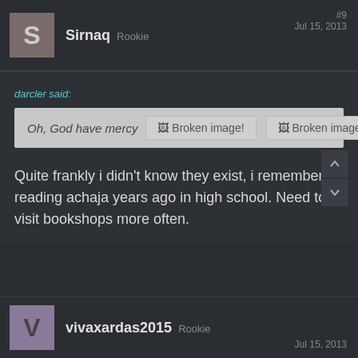Sirnaq  Rookie  #9  Jul 15, 2013
darcler said:
Oh, God have mercy  🖼 Broken image!  🖼 Broken image!
Quite frankly i didn't know they exist, i remember reading achaja years ago in high school. Need to visit bookshops more often.
vivaxardas2015  Rookie  Jul 15, 2013